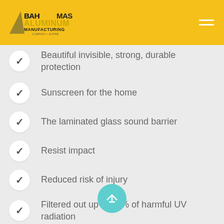Bahamas Aluminum Manufacturing
Beautiful invisible, strong, durable protection
Sunscreen for the home
The laminated glass sound barrier
Resist impact
Reduced risk of injury
Filtered out up to 90% of harmful UV radiation